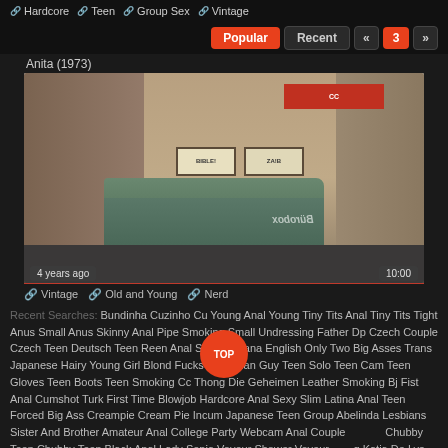Hardcore | Teen | Group Sex | Vintage
Popular | Recent | « | 3 | »
Anita (1973)
[Figure (photo): Video thumbnail showing a street scene with a van/truck parked in front of shops, vintage 1970s look. Overlaid metadata: '4 years ago' and '10:00']
Vintage | Old and Young | Nerd
Recent Searches: Bundinha Cuzinho Cu Young Anal Young Tiny Tits Anal Tiny Tits Tight Anus Small Anus Skinny Anal Pipe Smoking Small Undressing Father Dp Czech Couple Czech Teen Deutsch Teen Reen Anal Seduce Ivana English Only Two Big Asses Trans Japanese Hairy Young Girl Blond Fucks And Asian Guy Teen Solo Teen Cam Teen Gloves Teen Boots Teen Smoking Cc Thong Die Geheimen Leather Smoking Bj Fist Anal Cumshot Turk First Time Blowjob Hardcore Anal Sexy Slim Latina Anal Teen Forced Big Ass Creampie Cream Pie Incum Japanese Teen Group Abelinda Lesbians Sister And Brother Amateur Anal College Party Webcam Anal Couple Chubby Teen Chubby Teen Black Anal Lady Sonia Voyeur Shower Voyeur Katia De Lys Delivery Young Petite Teen To Young Daddy Daughter Daddy Hairy Teen Anal Hairy Japan Bi Teen Stripping Strippin Shake Shoplifting Sister Big Ass Teen Pov Teen Painal Small Teen Smile Teen Smile Since 18 And Interracial Anal 18 And Screaming